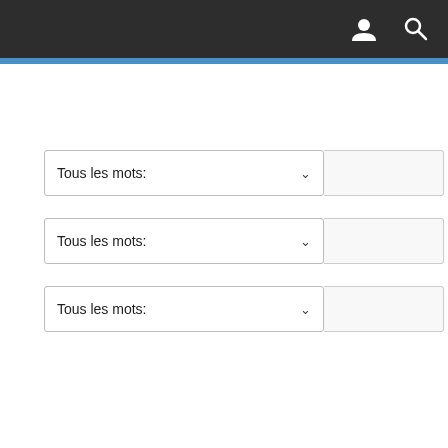[Figure (screenshot): Dark top navigation bar with user icon and search icon on the right]
[Figure (screenshot): Navigation tabs area with one white tab and three blue tabs on a light grey background]
Tous les mots:
Tous les mots:
Tous les mots: